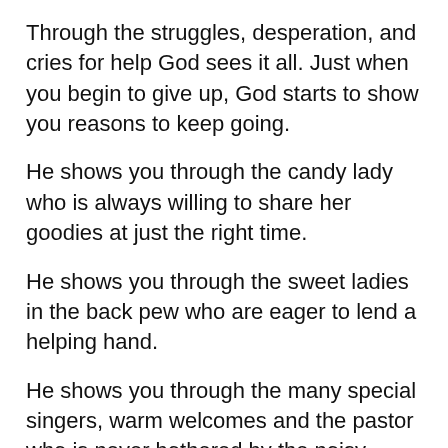Through the struggles, desperation, and cries for help God sees it all. Just when you begin to give up, God starts to show you reasons to keep going.
He shows you through the candy lady who is always willing to share her goodies at just the right time.
He shows you through the sweet ladies in the back pew who are eager to lend a helping hand.
He shows you through the many special singers, warm welcomes and the pastor who is never bothered by the noisy children.
God shows you that you are never alone in this community of the most loving and caring people. You don’t know it yet in the midst of the chaos, but soon you will start to see that it was never just a